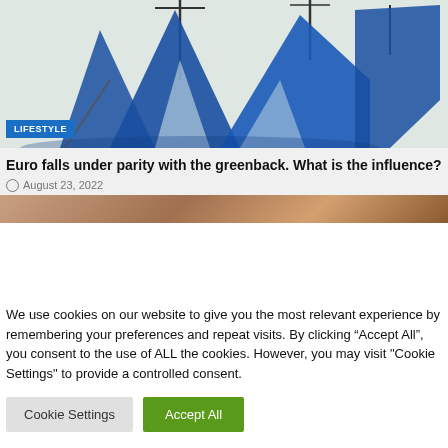[Figure (illustration): Abstract sailboat illustration with blue sails on light background. A 'LIFESTYLE' badge is overlaid at bottom-left of the image.]
Euro falls under parity with the greenback. What is the influence?
August 23, 2022
[Figure (photo): Partial photo strip showing a person with brown hair, cropped.]
We use cookies on our website to give you the most relevant experience by remembering your preferences and repeat visits. By clicking “Accept All”, you consent to the use of ALL the cookies. However, you may visit "Cookie Settings" to provide a controlled consent.